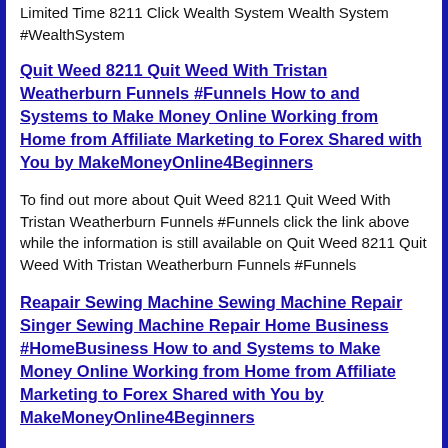Limited Time 8211 Click Wealth System Wealth System #WealthSystem
Quit Weed 8211 Quit Weed With Tristan Weatherburn Funnels #Funnels How to and Systems to Make Money Online Working from Home from Affiliate Marketing to Forex Shared with You by MakeMoneyOnline4Beginners
To find out more about Quit Weed 8211 Quit Weed With Tristan Weatherburn Funnels #Funnels click the link above while the information is still available on Quit Weed 8211 Quit Weed With Tristan Weatherburn Funnels #Funnels
Reapair Sewing Machine Sewing Machine Repair Singer Sewing Machine Repair Home Business #HomeBusiness How to and Systems to Make Money Online Working from Home from Affiliate Marketing to Forex Shared with You by MakeMoneyOnline4Beginners
To find out more about Reapair Sewing Machine Sewing Machine Repair Singer Sewing Machine Repair Home